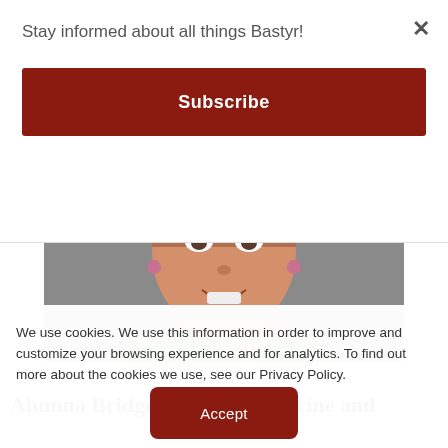Stay informed about all things Bastyr!
Subscribe
[Figure (photo): A smiling woman in a green top, photographed from the shoulders up, holding her hand near her chin. The background is grey.]
Alumna Bridges Natural Medicine and
We use cookies. We use this information in order to improve and customize your browsing experience and for analytics. To find out more about the cookies we use, see our Privacy Policy.
Accept